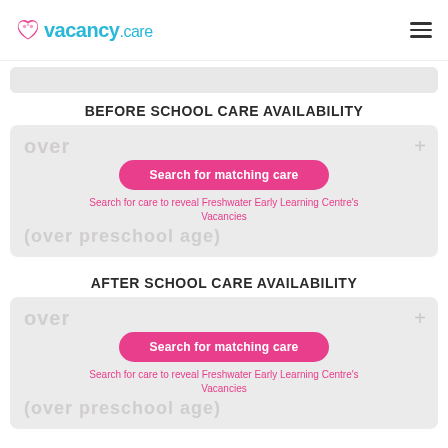vacancy.care
BEFORE SCHOOL CARE AVAILABILITY
over ... (over preschool age) Search for care to reveal Freshwater Early Learning Centre's Vacancies
AFTER SCHOOL CARE AVAILABILITY
over ... (over preschool age) Search for care to reveal Freshwater Early Learning Centre's Vacancies